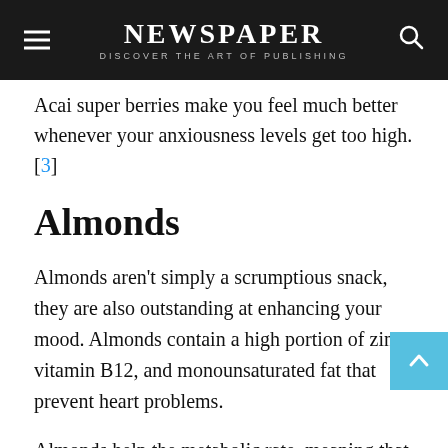NEWSPAPER — DISCOVER THE ART OF PUBLISHING
Acai super berries make you feel much better whenever your anxiousness levels get too high.[3]
Almonds
Almonds aren't simply a scrumptious snack, they are also outstanding at enhancing your mood. Almonds contain a high portion of zinc, vitamin B12, and monounsaturated fat that prevent heart problems.
Almonds help the metabolic rate, meaning that by consuming a handful of almonds every day, you will be able to lose additional weight compared to not having them.
Almonds are a remarkable snack to have when you are